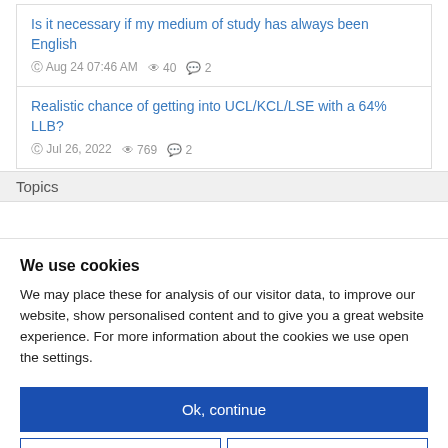Is it necessary if my medium of study has always been English
⊙ Aug 24 07:46 AM  👁 40  💬 2
Realistic chance of getting into UCL/KCL/LSE with a 64% LLB?
⊙ Jul 26, 2022  👁 769  💬 2
Topics
We use cookies
We may place these for analysis of our visitor data, to improve our website, show personalised content and to give you a great website experience. For more information about the cookies we use open the settings.
Ok, continue
Deny
No, adjust